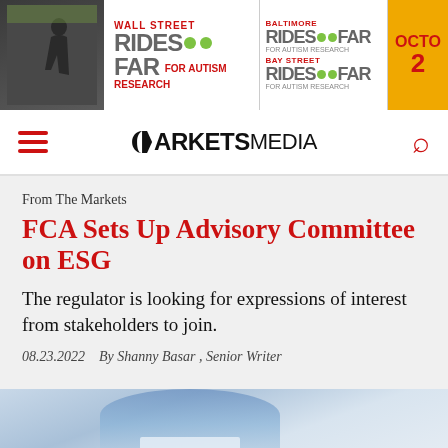[Figure (infographic): Banner advertisement for Wall Street Rides Far, Baltimore Rides Far, and Bay Street Rides Far for Autism Research, with October date partial]
MARKETS MEDIA
From The Markets
FCA Sets Up Advisory Committee on ESG
The regulator is looking for expressions of interest from stakeholders to join.
08.23.2022   By Shanny Basar , Senior Writer
[Figure (photo): Partial photo at bottom of page showing a person in a blue shirt, blurred background]